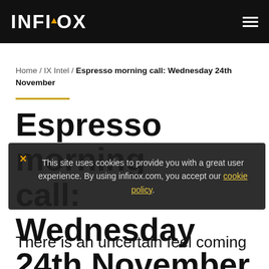INFINOX
Home / IX Intel / Espresso morning call: Wednesday 24th November
Espresso morning call: Wednesday 24th November
There is an uncertain feel coming
This site uses cookies to provide you with a great user experience. By using infinox.com, you accept our cookie policy.